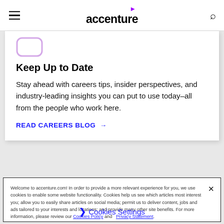accenture
[Figure (logo): Purple outlined rounded-rectangle icon]
Keep Up to Date
Stay ahead with careers tips, insider perspectives, and industry-leading insights you can put to use today–all from the people who work here.
READ CAREERS BLOG →
Welcome to accenture.com! In order to provide a more relevant experience for you, we use cookies to enable some website functionality. Cookies help us see which articles most interest you; allow you to easily share articles on social media; permit us to deliver content, jobs and ads tailored to your interests and locations; and provide many other site benefits. For more information, please review our Cookies Policy and Privacy Statement.
❯ Cookies Settings